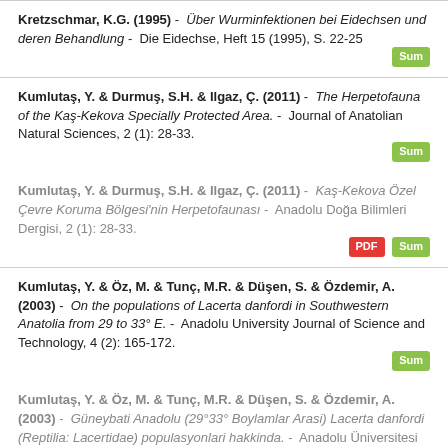Kretzschmar, K.G. (1995) - Über Wurminfektionen bei Eidechsen und deren Behandlung - Die Eidechse, Heft 15 (1995), S. 22-25 [Sum]
Kumlutaş, Y. & Durmuş, S.H. & Ilgaz, Ç. (2011) - The Herpetofauna of the Kaş-Kekova Specially Protected Area. - Journal of Anatolian Natural Sciences, 2 (1): 28-33. [Sum]
Kumlutaş, Y. & Durmuş, S.H. & Ilgaz, Ç. (2011) - Kaş-Kekova Özel Çevre Koruma Bölgesi'nin Herpetofaunası - Anadolu Doğa Bilimleri Dergisi, 2 (1): 28-33. [PDF] [Sum]
Kumlutaş, Y. & Öz, M. & Tunç, M.R. & Düşen, S. & Özdemir, A. (2003) - On the populations of Lacerta danfordi in Southwestern Anatolia from 29 to 33° E. - Anadolu University Journal of Science and Technology, 4 (2): 165-172. [Sum]
Kumlutaş, Y. & Öz, M. & Tunç, M.R. & Düşen, S. & Özdemir, A. (2003) - Güneybati Anadolu (29°33° Boylamlar Arasi) Lacerta danfordi (Reptilia: Lacertidae) populasyonlari hakkinda. - Anadolu Üniversitesi Bilim ve